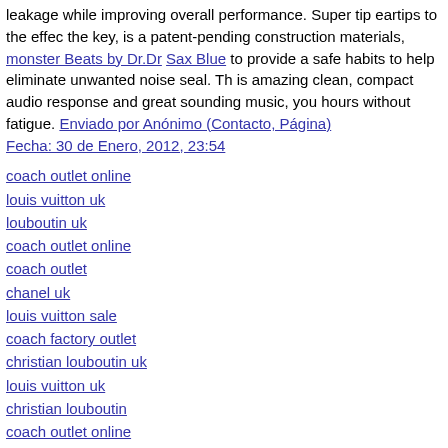leakage while improving overall performance. Super tip eartips to the effect the key, is a patent-pending construction materials, monster Beats by Dr.Dre Sax Blue to provide a safe habits to help eliminate unwanted noise seal. This is amazing clean, compact audio response and great sounding music, you hours without fatigue. Enviado por Anónimo (Contacto, Página)
Fecha: 30 de Enero, 2012, 23:54
coach outlet online
louis vuitton uk
louboutin uk
coach outlet online
coach outlet
chanel uk
louis vuitton sale
coach factory outlet
christian louboutin uk
louis vuitton uk
christian louboutin
coach outlet online
coach outlet store
chanel uk
~~~
Enviado por Nike Dunks High (Contacto, Página)
Fecha: 15 de Marzo, 2012, 6:59
nike dunks high,nike dunk high,Mens Nike Dunks High,Mens Nike Dunks M Nike Dunks Low,Womens Nike Dunks Heels,Kids Nike Dunks High, Frankli Outlet,Franklin And Marshall Outlet